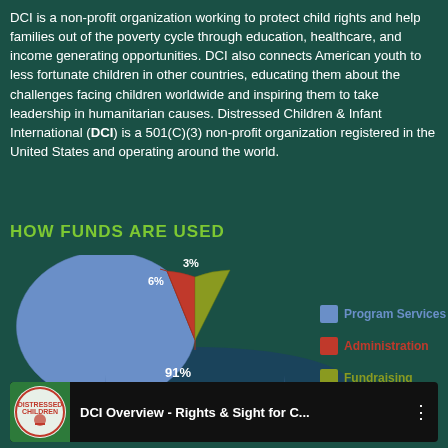DCI is a non-profit organization working to protect child rights and help families out of the poverty cycle through education, healthcare, and income generating opportunities. DCI also connects American youth to less fortunate children in other countries, educating them about the challenges facing children worldwide and inspiring them to take leadership in humanitarian causes. Distressed Children & Infant International (DCI) is a 501(C)(3) non-profit organization registered in the United States and operating around the world.
HOW FUNDS ARE USED
[Figure (pie-chart): HOW FUNDS ARE USED]
[Figure (screenshot): Video thumbnail for DCI Overview - Rights & Sight for C... with DCI logo and play button]